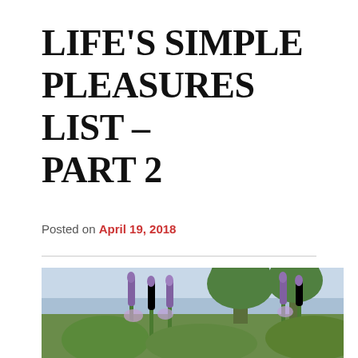LIFE'S SIMPLE PLEASURES LIST – PART 2
Posted on April 19, 2018
[Figure (photo): Outdoor photo showing purple lupine flowers in the foreground with green trees and a blue lake or water body in the background under a light blue sky]